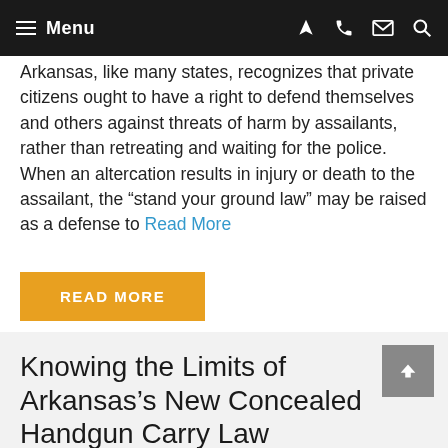Menu
Arkansas, like many states, recognizes that private citizens ought to have a right to defend themselves and others against threats of harm by assailants, rather than retreating and waiting for the police. When an altercation results in injury or death to the assailant, the “stand your ground law” may be raised as a defense to Read More
READ MORE
Knowing the Limits of Arkansas’s New Concealed Handgun Carry Law